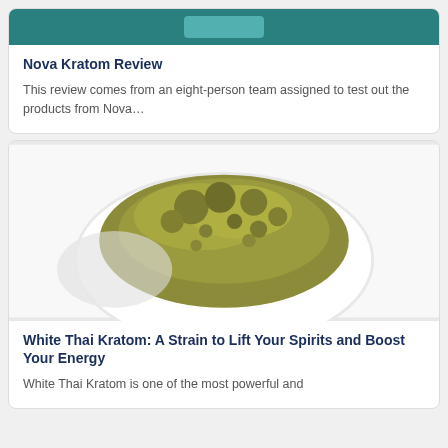[Figure (photo): Teal/green website header banner with a button placeholder]
Nova Kratom Review
This review comes from an eight-person team assigned to test out the products from Nova...
[Figure (photo): A white bowl filled with green kratom powder, viewed from above on a white background]
White Thai Kratom: A Strain to Lift Your Spirits and Boost Your Energy
White Thai Kratom is one of the most powerful and